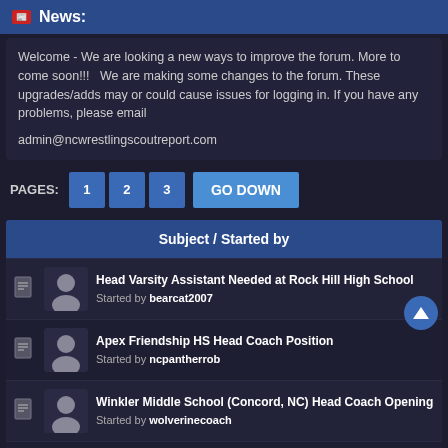News
Welcome - We are looking a new ways to improve the forum. More to come soon!!!  We are making some changes to the forum. These upgrades/adds may or could cause issues for logging in. If you have any problems, please email

admin@ncwrestlingscoutreport.com
PAGES: 1 2 3 GO DOWN
Subject / Started by
Head Varsity Assistant Needed at Rock Hill High School
Started by bearcat2007
Apex Friendship HS Head Coach Position
Started by ncpantherrob
Winkler Middle School (Concord, NC) Head Coach Opening
Started by wolverinecoach
Robeson County Coaching Opportunities
Started by Ironman152